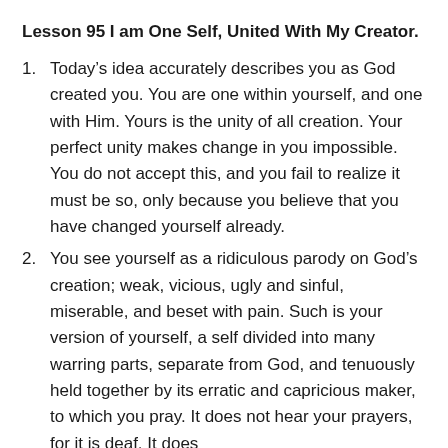Lesson 95 I am One Self, United With My Creator.
Today's idea accurately describes you as God created you. You are one within yourself, and one with Him. Yours is the unity of all creation. Your perfect unity makes change in you impossible. You do not accept this, and you fail to realize it must be so, only because you believe that you have changed yourself already.
You see yourself as a ridiculous parody on God's creation; weak, vicious, ugly and sinful, miserable, and beset with pain. Such is your version of yourself, a self divided into many warring parts, separate from God, and tenuously held together by its erratic and capricious maker, to which you pray. It does not hear your prayers, for it is deaf. It does